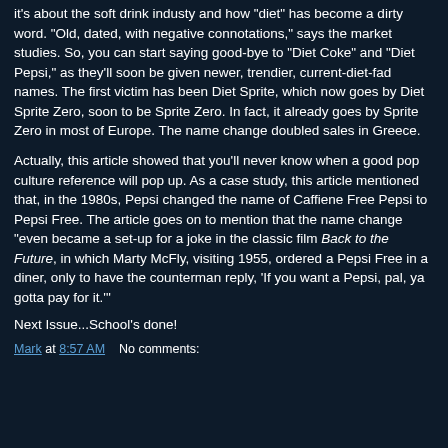it's about the soft drink industy and how "diet" has become a dirty word. "Old, dated, with negative connotations," says the market studies. So, you can start saying good-bye to "Diet Coke" and "Diet Pepsi," as they'll soon be given newer, trendier, current-diet-fad names. The first victim has been Diet Sprite, which now goes by Diet Sprite Zero, soon to be Sprite Zero. In fact, it already goes by Sprite Zero in most of Europe. The name change doubled sales in Greece.
Actually, this article showed that you'll never know when a good pop culture reference will pop up. As a case study, this article mentioned that, in the 1980s, Pepsi changed the name of Caffiene Free Pepsi to Pepsi Free. The article goes on to mention that the name change "even became a set-up for a joke in the classic film Back to the Future, in which Marty McFly, visiting 1955, ordered a Pepsi Free in a diner, only to have the counterman reply, 'If you want a Pepsi, pal, ya gotta pay for it.'"
Next Issue...School's done!
Mark at 8:57 AM    No comments: